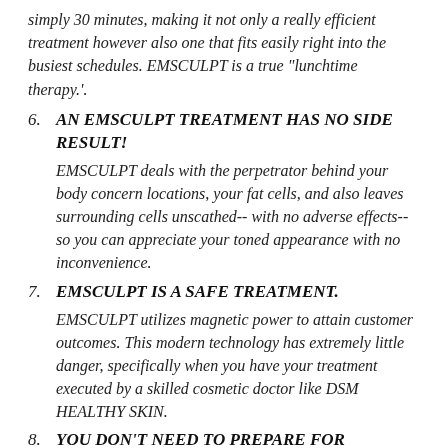simply 30 minutes, making it not only a really efficient treatment however also one that fits easily right into the busiest schedules. EMSCULPT is a true "lunchtime therapy.'.
6. AN EMSCULPT TREATMENT HAS NO SIDE RESULT! EMSCULPT deals with the perpetrator behind your body concern locations, your fat cells, and also leaves surrounding cells unscathed-- with no adverse effects-- so you can appreciate your toned appearance with no inconvenience.
7. EMSCULPT IS A SAFE TREATMENT. EMSCULPT utilizes magnetic power to attain customer outcomes. This modern technology has extremely little danger, specifically when you have your treatment executed by a skilled cosmetic doctor like DSM HEALTHY SKIN.
8. YOU DON'T NEED TO PREPARE FOR